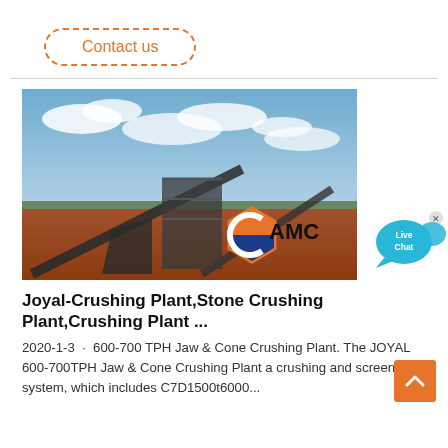Contact us
[Figure (photo): Outdoor photograph of a stone crushing plant facility with industrial conveyors and machinery on red earth soil under a partly cloudy blue sky. An AMC logo (hexagon with orange and blue halves) is overlaid on the lower portion of the image.]
[Figure (other): Live Chat speech bubble icon in blue with 'Live Chat' text and an x close button]
Joyal-Crushing Plant,Stone Crushing Plant,Crushing Plant ...
2020-1-3 · 600-700 TPH Jaw & Cone Crushing Plant. The JOYAL 600-700TPH Jaw & Cone Crushing Plant a crushing and screening system, which includes C7D1500t6000...